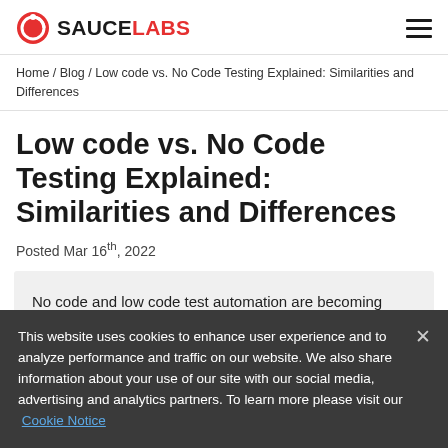SAUCE LABS [logo + hamburger menu]
Home / Blog / Low code vs. No Code Testing Explained: Similarities and Differences
Low code vs. No Code Testing Explained: Similarities and Differences
Posted Mar 16th, 2022
No code and low code test automation are becoming widely adopted and will help address the evolving challenges faced by businesses today.
This website uses cookies to enhance user experience and to analyze performance and traffic on our website. We also share information about your use of our site with our social media, advertising and analytics partners. To learn more please visit our Cookie Notice